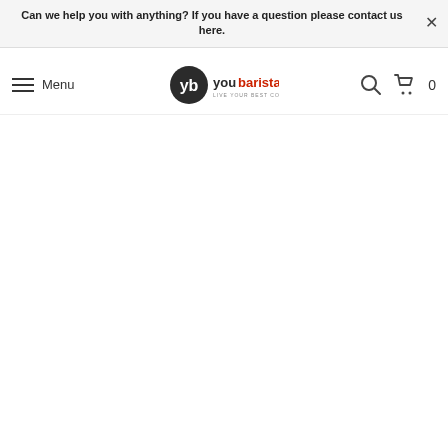Can we help you with anything? If you have a question please contact us here.
[Figure (logo): YouBarista logo with circular 'yb' icon in black and text 'youbarista' with 'you' in dark and 'barista' in red, tagline 'LIVE YOUR BEST COFFEE']
Menu
0